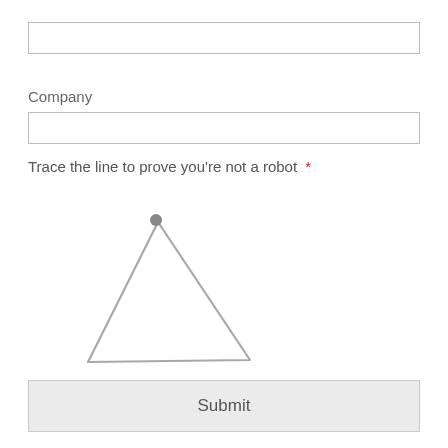[Figure (other): Empty text input field (top)]
Company
[Figure (other): Empty text input field (Company)]
Trace the line to prove you're not a robot  *
[Figure (illustration): A hand-drawn triangle shape (CAPTCHA) with a small filled circle dot at the top vertex, used for robot verification tracing.]
[Figure (other): Submit button]